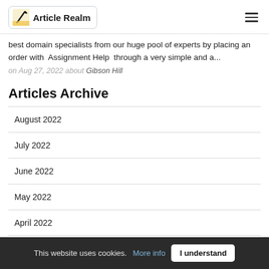Article Realm
best domain specialists from our huge pool of experts by placing an order with Assignment Help through a very simple and a...
on Aug 27, 2022 about Gibson Hill
Articles Archive
August 2022
July 2022
June 2022
May 2022
April 2022
This website uses cookies. More info  I understand